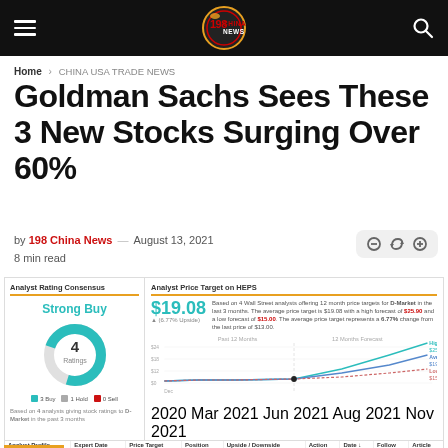198 China News
Home › CHINA USA TRADE NEWS
Goldman Sachs Sees These 3 New Stocks Surging Over 60%
by 198 China News — August 13, 2021
8 min read
[Figure (donut-chart): Strong Buy donut chart showing 4 ratings. Legend: Buy (teal), 1 Hold (gray), 0 Sell (red).]
[Figure (line-chart): Line chart showing analyst price targets for D-Market (HEPS) over past 12 months and 12-month forecast. High: $25.90, Average: $19.08, Low: $15.00.]
| Analyst Profile | Expert Date | Price Target | Position | Upside / Downside | Action | Date | Follow | Article |
| --- | --- | --- | --- | --- | --- | --- | --- | --- |